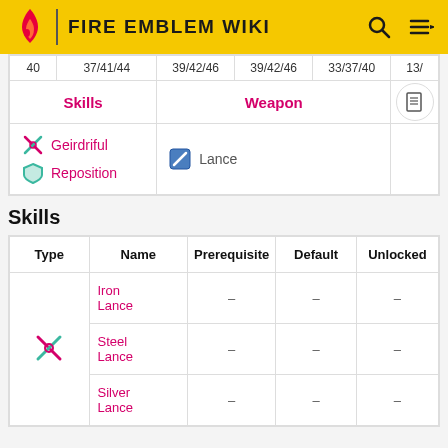FIRE EMBLEM WIKI
|  | Skills |  | Weapon |  |
| --- | --- | --- | --- | --- |
| 40 | 37/41/44 | 39/42/46 | 39/42/46 | 33/37/40 | 13/ |
|  | Geirdriful
Reposition |  | Lance |  |
Skills
| Type | Name | Prerequisite | Default | Unlocked |
| --- | --- | --- | --- | --- |
| [sword icon] | Iron Lance | – | – | – |
|  | Steel Lance | – | – | – |
|  | Silver Lance | – | – | – |